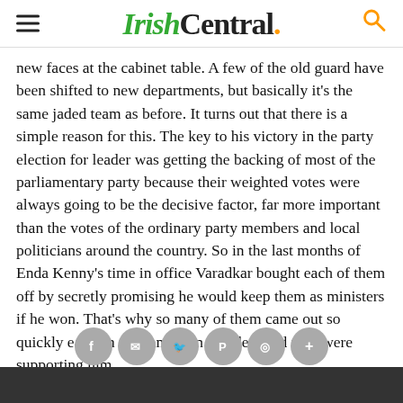IrishCentral.
new faces at the cabinet table. A few of the old guard have been shifted to new departments, but basically it's the same jaded team as before. It turns out that there is a simple reason for this. The key to his victory in the party election for leader was getting the backing of most of the parliamentary party because their weighted votes were always going to be the decisive factor, far more important than the votes of the ordinary party members and local politicians around the country. So in the last months of Enda Kenny's time in office Varadkar bought each of them off by secretly promising he would keep them as ministers if he won. That's why so many of them came out so quickly early in the campaign and declared they were supporting him.
In fact, so many declared for him in the first few days that it snuffed out the campaign of his rival, Coveney before it